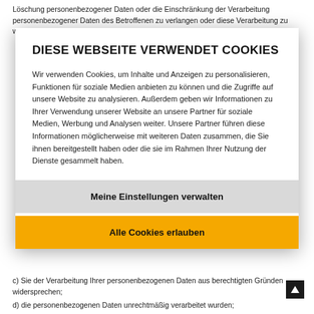Löschung personenbezogener Daten oder die Einschränkung der Verarbeitung personenbezogener Daten des Betroffenen zu verlangen oder diese Verarbeitung zu widersprechen;
DIESE WEBSEITE VERWENDET COOKIES
Wir verwenden Cookies, um Inhalte und Anzeigen zu personalisieren, Funktionen für soziale Medien anbieten zu können und die Zugriffe auf unsere Website zu analysieren. Außerdem geben wir Informationen zu Ihrer Verwendung unserer Website an unsere Partner für soziale Medien, Werbung und Analysen weiter. Unsere Partner führen diese Informationen möglicherweise mit weiteren Daten zusammen, die Sie ihnen bereitgestellt haben oder die sie im Rahmen Ihrer Nutzung der Dienste gesammelt haben.
Meine Einstellungen verwalten
Alle Cookies erlauben
c) Sie der Verarbeitung Ihrer personenbezogenen Daten aus berechtigten Gründen widersprechen;
d) die personenbezogenen Daten unrechtmäßig verarbeitet wurden;